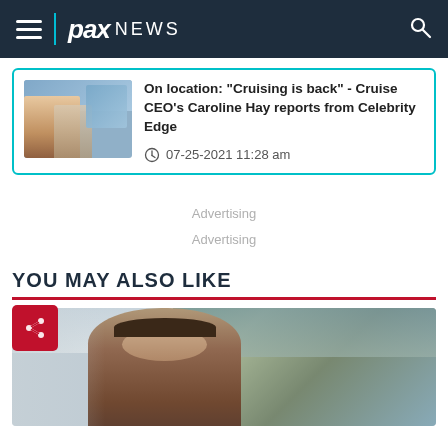PAX NEWS
On location: "Cruising is back" - Cruise CEO's Caroline Hay reports from Celebrity Edge
07-25-2021 11:28 am
Advertising
Advertising
YOU MAY ALSO LIKE
[Figure (photo): Photo of a man in front of a building, likely a government building with copper/green roof, blurred background]